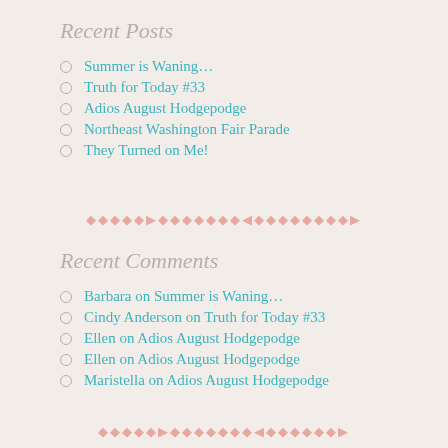Recent Posts
Summer is Waning…
Truth for Today #33
Adios August Hodgepodge
Northeast Washington Fair Parade
They Turned on Me!
Recent Comments
Barbara on Summer is Waning…
Cindy Anderson on Truth for Today #33
Ellen on Adios August Hodgepodge
Ellen on Adios August Hodgepodge
Maristella on Adios August Hodgepodge